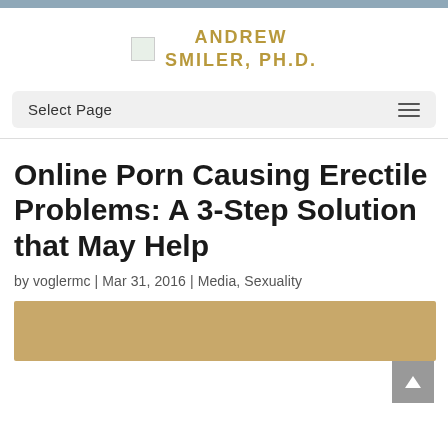ANDREW SMILER, PH.D.
Select Page
Online Porn Causing Erectile Problems: A 3-Step Solution that May Help
by voglermc | Mar 31, 2016 | Media, Sexuality
[Figure (photo): Partial photo at bottom of page, appears to show a person or figure against a light background]